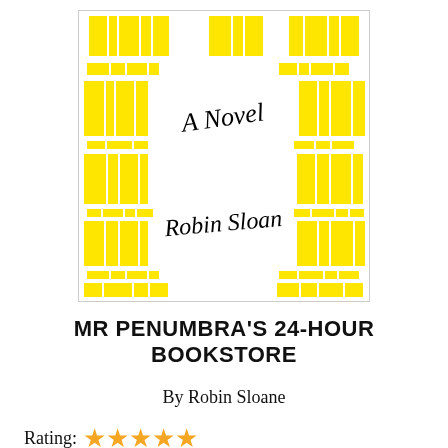[Figure (illustration): Book cover of Mr Penumbra's 24-Hour Bookstore by Robin Sloan. Yellow stylized book spines pattern on white background with handwritten text 'A Novel' and 'Robin Sloan' in black script.]
MR PENUMBRA'S 24-HOUR BOOKSTORE
By Robin Sloane
Rating: ★★★★★